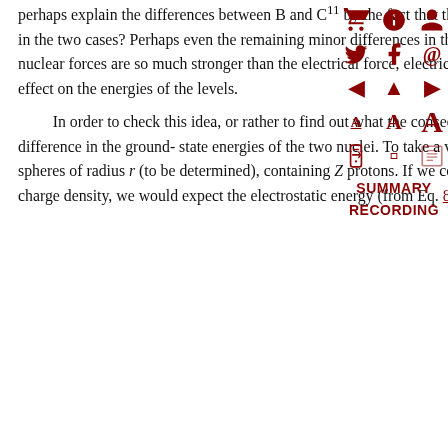perhaps explain the differences between B and C¹¹ by the fact that the electrical interaction of the protons is different in the two cases? Perhaps even the remaining minor differences in the levels are caused by electrical effects? Since the nuclear forces are so much stronger than the electrical force, electrical effects would have only a small perturbing effect on the energies of the levels.
In order to check this idea, or rather to find out what the consequences of this idea are, we first consider the difference in the ground-state energies of the two nuclei. To take a very simple model, we suppose that the nuclei are spheres of radius r (to be determined), containing Z protons. If we consider that a nucleus is like a sphere with uniform charge density, we would expect the electrostatic energy (from Eq. 8.7) to be